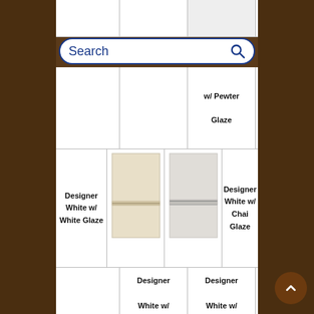[Figure (screenshot): Search bar with blue border and magnifying glass icon, showing 'Search' placeholder text]
|  |  | w/ Pewter Glaze |  |
| --- | --- | --- | --- |
| Designer White w/ White Glaze | [cabinet image cream] | [cabinet image gray] | Designer White w/ Chai Glaze |
|  | Designer White w/ | Designer White w/ |  |